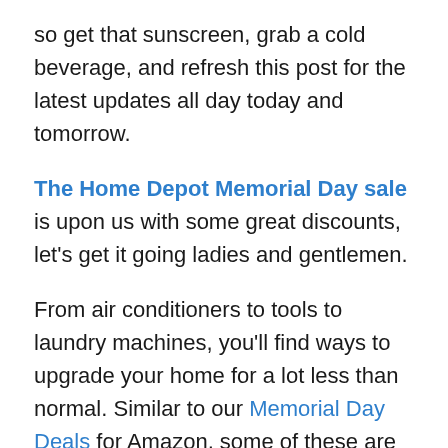so get that sunscreen, grab a cold beverage, and refresh this post for the latest updates all day today and tomorrow.
The Home Depot Memorial Day sale is upon us with some great discounts, let's get it going ladies and gentlemen.
From air conditioners to tools to laundry machines, you'll find ways to upgrade your home for a lot less than normal. Similar to our Memorial Day Deals for Amazon, some of these are live now but could sell out.